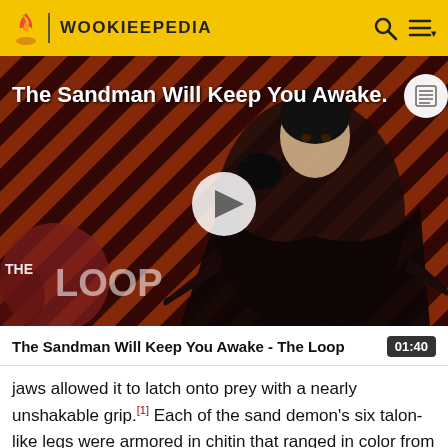WOOKIEEPEDIA
[Figure (screenshot): Video thumbnail showing a dark-cloaked figure against a red and black diagonal striped background with 'THE LOOP' branding overlay and a play button in the center. Title reads 'The Sandman Will Keep You Awake...']
The Sandman Will Keep You Awake - The Loop  01:40
jaws allowed it to latch onto prey with a nearly unshakable grip.[1] Each of the sand demon's six talon-like legs were armored in chitin that ranged in color from